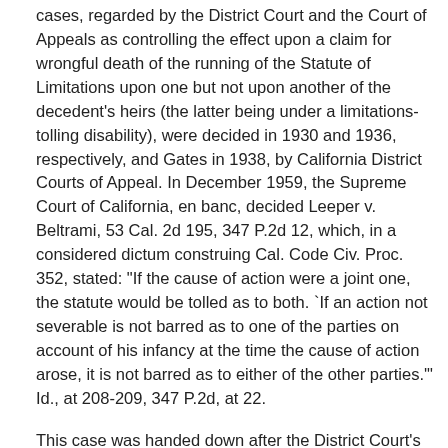cases, regarded by the District Court and the Court of Appeals as controlling the effect upon a claim for wrongful death of the running of the Statute of Limitations upon one but not upon another of the decedent's heirs (the latter being under a limitations-tolling disability), were decided in 1930 and 1936, respectively, and Gates in 1938, by California District Courts of Appeal. In December 1959, the Supreme Court of California, en banc, decided Leeper v. Beltrami, 53 Cal. 2d 195, 347 P.2d 12, which, in a considered dictum construing Cal. Code Civ. Proc. 352, stated: "If the cause of action were a joint one, the statute would be tolled as to both. `If an action not severable is not barred as to one of the parties on account of his infancy at the time the cause of action arose, it is not barred as to either of the other parties.'" Id., at 208-209, 347 P.2d, at 22.
This case was handed down after the District Court's ruling granting summary judgment for respondent in the present